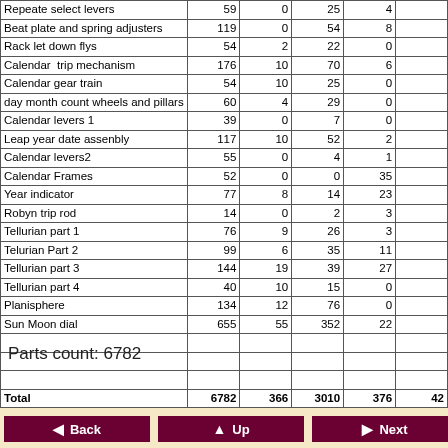| Component | Col1 | Col2 | Col3 | Col4 | Col5 |
| --- | --- | --- | --- | --- | --- |
| Repeate select levers | 59 | 0 | 25 | 4 |  |
| Beat plate and spring adjusters | 119 | 0 | 54 | 8 |  |
| Rack let down flys | 54 | 2 | 22 | 0 |  |
| Calendar  trip mechanism | 176 | 10 | 70 | 6 |  |
| Calendar gear train | 54 | 10 | 25 | 0 |  |
| day month count wheels and pillars | 60 | 4 | 29 | 0 |  |
| Calendar levers 1 | 39 | 0 | 7 | 0 |  |
| Leap year date assenbly | 117 | 10 | 52 | 2 |  |
| Calendar levers2 | 55 | 0 | 4 | 1 |  |
| Calendar Frames | 52 | 0 | 0 | 35 |  |
| Year indicator | 77 | 8 | 14 | 23 |  |
| Robyn trip rod | 14 | 0 | 2 | 3 |  |
| Tellurian part 1 | 76 | 9 | 26 | 3 |  |
| Telurian Part 2 | 99 | 6 | 35 | 11 |  |
| Tellurian part 3 | 144 | 19 | 39 | 27 |  |
| Tellurian part 4 | 40 | 10 | 15 | 0 |  |
| Planisphere | 134 | 12 | 76 | 0 |  |
| Sun Moon dial | 655 | 55 | 352 | 22 |  |
|  |  |  |  |  |  |
|  |  |  |  |  |  |
|  |  |  |  |  |  |
| Total | 6782 | 366 | 3010 | 376 | 42 |
Parts count: 6782